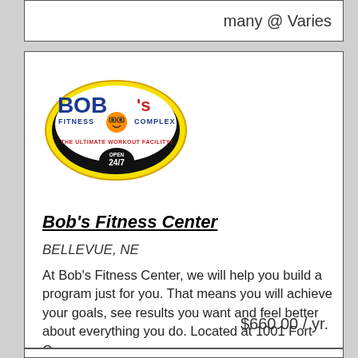many @ Varies
[Figure (logo): Bob's Fitness Complex logo — oval yellow border, black oval background, 'BOB's' in large blue/red text, 'FITNESS COMPLEX' text, cartoon smiley face, 'THE ULTIMATE WORKOUT FACILITY!' tagline, 'OPEN 24/7' badge at bottom]
Bob's Fitness Center
BELLEVUE, NE
At Bob's Fitness Center, we will help you build a program just for you. That means you will achieve your goals, see results you want and feel better about everything you do. Located at 1001 Fort Croo
... more
$660.00 / yr.